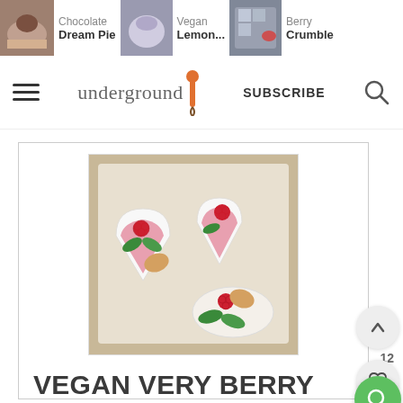Chocolate Dream Pie | Vegan Lemon... | Berry Crumble
[Figure (logo): underground carrot logo with SUBSCRIBE button and search icon]
[Figure (photo): Vegan Very Berry Mousse dessert in heart-shaped white bowls with raspberries and mint leaves]
VEGAN VERY BERRY MOUSSE
★★★★★
10 MINUTES
TOTAL TIME: 10 MINUTES